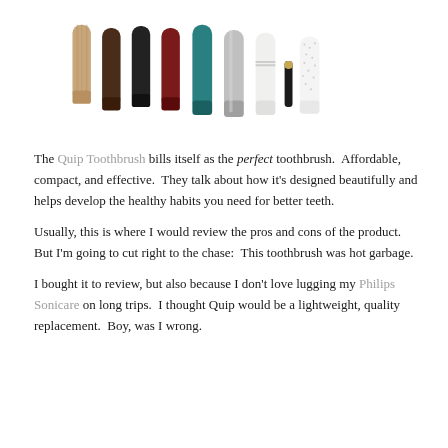[Figure (photo): Row of Quip electric toothbrushes in various colors and finishes including wood grain, dark brown, black, dark red/maroon, teal, silver, white, and patterned white, shown vertically standing with caps, partially cropped at top]
The Quip Toothbrush bills itself as the perfect toothbrush.  Affordable, compact, and effective.  They talk about how it's designed beautifully and helps develop the healthy habits you need for better teeth.
Usually, this is where I would review the pros and cons of the product.  But I'm going to cut right to the chase:  This toothbrush was hot garbage.
I bought it to review, but also because I don't love lugging my Philips Sonicare on long trips.  I thought Quip would be a lightweight, quality replacement.  Boy, was I wrong.